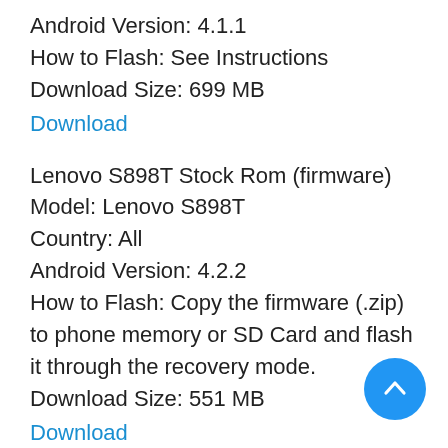Android Version: 4.1.1
How to Flash: See Instructions
Download Size: 699 MB
Download
Lenovo S898T Stock Rom (firmware)
Model: Lenovo S898T
Country: All
Android Version: 4.2.2
How to Flash: Copy the firmware (.zip) to phone memory or SD Card and flash it through the recovery mode.
Download Size: 551 MB
Download
Lenovo S898T Plus Stock Rom (firmware)
Model: Lenovo S898T+